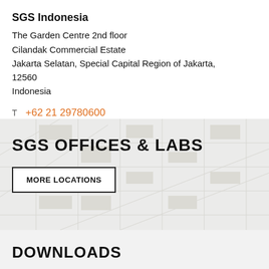SGS Indonesia
The Garden Centre 2nd floor
Cilandak Commercial Estate
Jakarta Selatan, Special Capital Region of Jakarta, 12560
Indonesia
T  +62 21 29780600
[Figure (map): Background map graphic showing street/city map lines in light grey on a slightly tinted background]
SGS OFFICES & LABS
MORE LOCATIONS
DOWNLOADS
ALL  PROMOTIONAL MATERIALS  ...